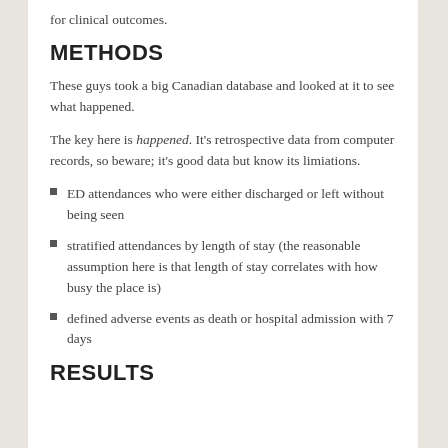for clinical outcomes.
METHODS
These guys took a big Canadian database and looked at it to see what happened.
The key here is happened. It's retrospective data from computer records, so beware; it's good data but know its limiations.
ED attendances who were either discharged or left without being seen
stratified attendances by length of stay (the reasonable assumption here is that length of stay correlates with how busy the place is)
defined adverse events as death or hospital admission with 7 days
RESULTS